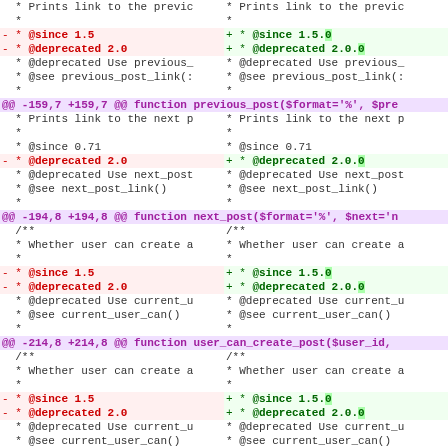[Figure (screenshot): A unified diff view of PHP source code showing three hunks. Left column shows removed lines (red, minus prefix), right column shows added lines (green, plus prefix). Hunk headers are purple. Changes include version annotations @since and @deprecated being updated from 1.5/2.0 to 1.5.0/2.0.0. Functions covered: previous_post, next_post, user_can_create_post.]